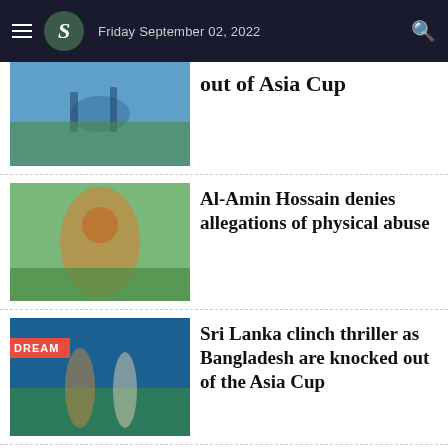Friday September 02, 2022
out of Asia Cup
Al-Amin Hossain denies allegations of physical abuse
Sri Lanka clinch thriller as Bangladesh are knocked out of the Asia Cup
Suryakumar Yadav says fine with playing